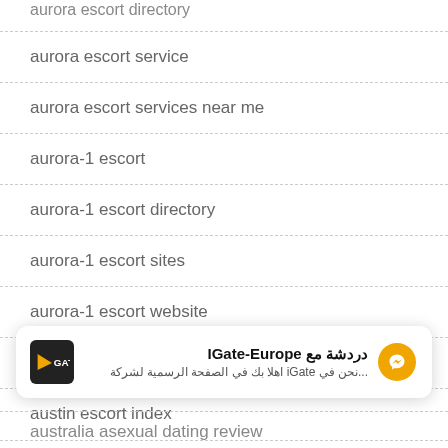aurora escort directory
aurora escort service
aurora escort services near me
aurora-1 escort
aurora-1 escort directory
aurora-1 escort sites
aurora-1 escort website
austin eros escort
austin escort index
[Figure (screenshot): IGate-Europe Facebook Messenger chat widget showing Arabic text: دردشة مع IGate-Europe, with subtitle نحن في iGate اهلا بك في الصفحة الرسمية لشركة...]
australia asexual dating review